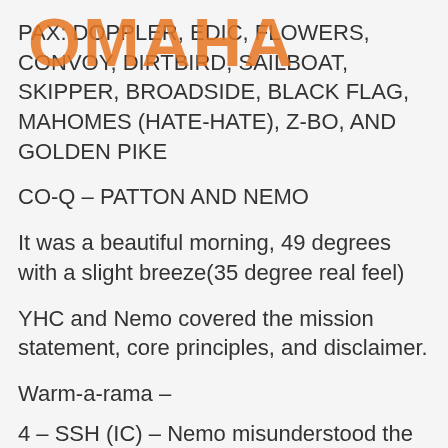[Figure (logo): OMAHA watermark in large orange bold text overlaid on the page content]
PAX: DOPPLER, EDIC, FLOWERS, CONVOY, DIRTBIRD, SAILBOAT, SKIPPER, BROADSIDE, BLACK FLAG, MAHOMES (HATE-HATE), Z-BO, AND GOLDEN PIKE
CO-Q – PATTON AND NEMO
It was a beautiful morning, 49 degrees with a slight breeze(35 degree real feel)
YHC and Nemo covered the mission statement, core principles, and disclaimer.
Warm-a-rama –
4 – SSH (IC) – Nemo misunderstood the